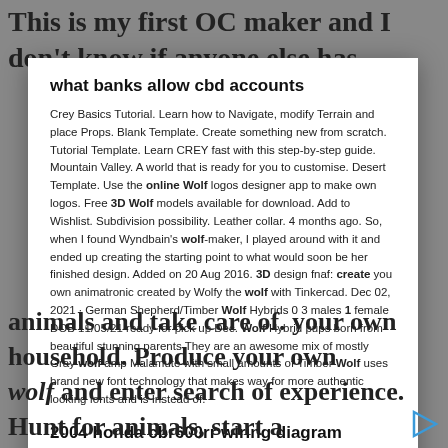This is my first OC maker and I don't know if anyone else has
what banks allow cbd accounts
Crey Basics Tutorial. Learn how to Navigate, modify Terrain and place Props. Blank Template. Create something new from scratch. Tutorial Template. Learn CREY fast with this step-by-step guide. Mountain Valley. A world that is ready for you to customise. Desert Template. Use the online Wolf logos designer app to make own logos. Free 3D Wolf models available for download. Add to Wishlist. Subdivision possibility. Leather collar. 4 months ago. So, when I found Wyndbain's wolf-maker, I played around with it and ended up creating the starting point to what would soon be her finished design. Added on 20 Aug 2016. 3D design fnaf: create you own animatronic created by Wolfy the wolf with Tinkercad. Dec 02, 2021 · German Shepherd/Timber Wolf Hybrids 0 3 males 1 female DOB 11/05/21 ready for pick up Dec. Wolf Hybrid pups born from beautiful stunning parents They are an awesome mix of mostly Gray wolf amp Malamute with small amounts of Timber Wolf uses brand new font technology that makes way for more authentic looking fonts and is Instead of.
2004 honda cbr600rr wiring diagram
100,000+ Free Models Search Engine. Rig & Animate Models Automatically. 1000+ Animations for T-pose models.Browsing: Models & Rigs.BlenderNation collects the best free Blender 3D model downloads from all across the Blender
animals and take care of. your own household. Produce your own wolf and enter search of experience. Hunt for animals, start a